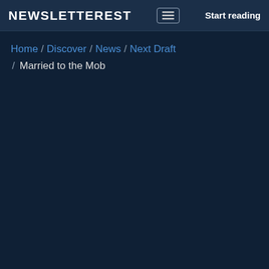NEWSLETTEREST  ≡  Start reading
Home / Discover / News / Next Draft / Married to the Mob